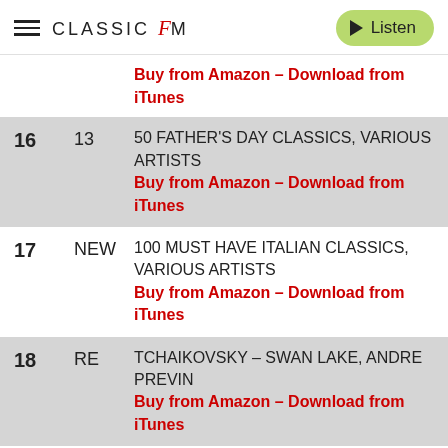CLASSIC FM - Listen
| # | Prev | Album |
| --- | --- | --- |
|  |  | Buy from Amazon - Download from iTunes |
| 16 | 13 | 50 FATHER'S DAY CLASSICS, VARIOUS ARTISTS
Buy from Amazon - Download from iTunes |
| 17 | NEW | 100 MUST HAVE ITALIAN CLASSICS, VARIOUS ARTISTS
Buy from Amazon - Download from iTunes |
| 18 | RE | TCHAIKOVSKY - SWAN LAKE, ANDRE PREVIN
Buy from Amazon - Download from iTunes |
| 19 | 22 | CLASSICAL MUSIC FOR RELAXATION, VARIOUS ARTISTS
Buy from Amazon - Download from iTunes |